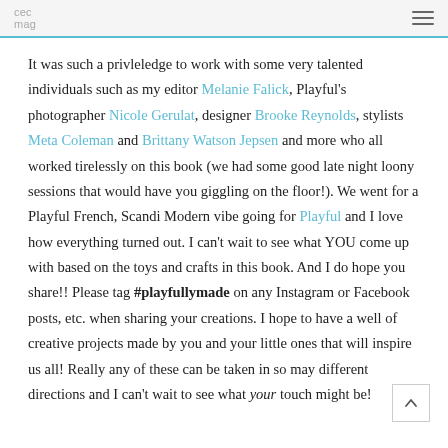cec mag  ☰
It was such a privleledge to work with some very talented individuals such as my editor Melanie Falick, Playful's photographer Nicole Gerulat, designer Brooke Reynolds, stylists Meta Coleman and Brittany Watson Jepsen and more who all worked tirelessly on this book (we had some good late night loony sessions that would have you giggling on the floor!). We went for a Playful French, Scandi Modern vibe going for Playful and I love how everything turned out. I can't wait to see what YOU come up with based on the toys and crafts in this book. And I do hope you share!! Please tag #playfullymade on any Instagram or Facebook posts, etc. when sharing your creations. I hope to have a well of creative projects made by you and your little ones that will inspire us all! Really any of these can be taken in so may different directions and I can't wait to see what your touch might be!